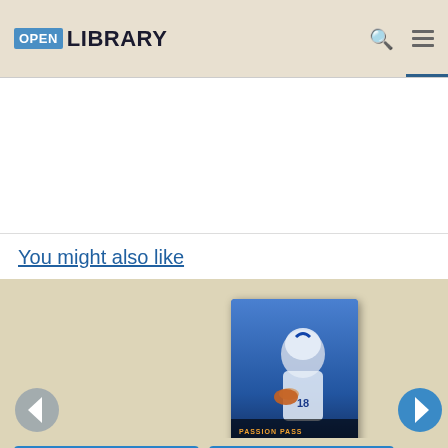Open Library
You might also like
[Figure (photo): Book cover for 'Peyton Manning' showing a football player in Indianapolis Colts uniform holding a football, with text 'Passion Pass' and 'PEYTON MANNING' on the cover]
Borrow
Borrow